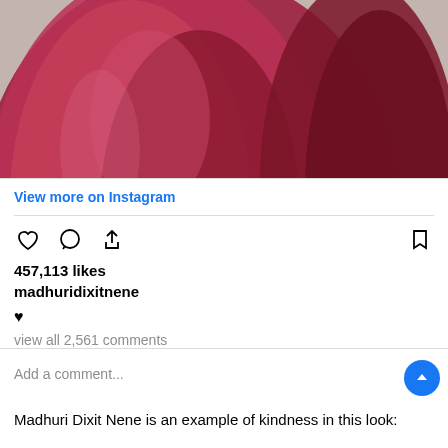[Figure (photo): Lower portion of a person wearing a flowing red/maroon gown or saree, with fabric draped elegantly, against a light grey background]
View more on Instagram
457,113 likes
madhuridixitnene
♥
view all 2,561 comments
Add a comment...
Madhuri Dixit Nene is an example of kindness in this look: